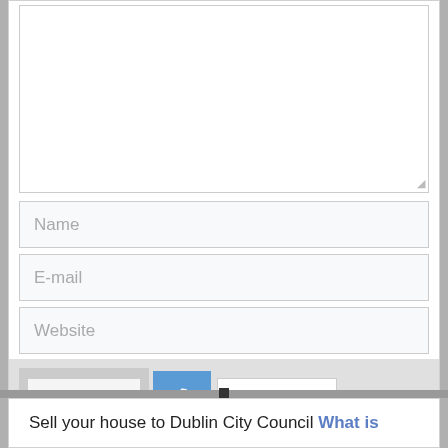[Figure (screenshot): Web form with textarea, Name, E-mail, Website input fields, a CAPTCHA widget showing code '2de7c' with a refresh button, and a 'SUBMIT YOUR COMMENT' button]
Sell your house to Dublin City Council What is